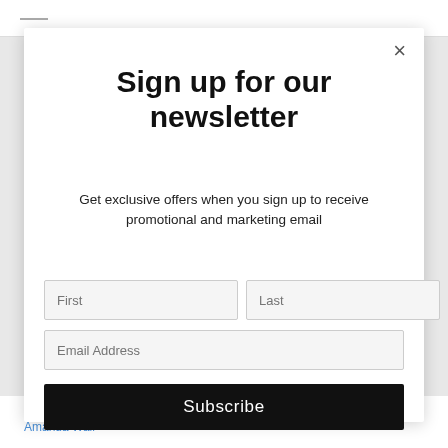[Figure (screenshot): Newsletter sign-up modal popup overlay on a website. Contains a close button (×), bold title 'Sign up for our newsletter', descriptive text, two input fields (First, Last), an email address field, and a black Subscribe button.]
Sign up for our newsletter
Get exclusive offers when you sign up to receive promotional and marketing email
First
Last
Email Address
Subscribe
Amanda Prowse
Amanda Wall